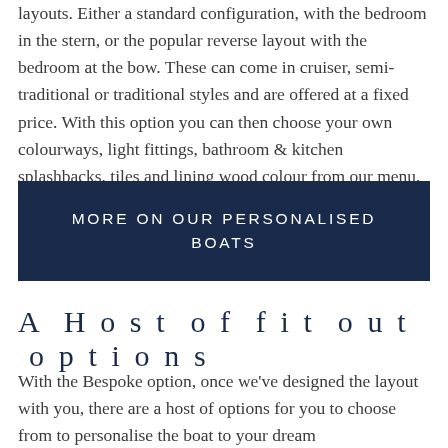layouts. Either a standard configuration, with the bedroom in the stern, or the popular reverse layout with the bedroom at the bow. These can come in cruiser, semi-traditional or traditional styles and are offered at a fixed price. With this option you can then choose your own colourways, light fittings, bathroom & kitchen splashbacks, tiles and lining wood colour from our menu, all of which are included in the price.
MORE ON OUR PERSONALISED BOATS
A Host of fit out options
With the Bespoke option, once we've designed the layout with you, there are a host of options for you to choose from to personalise the boat to your dream